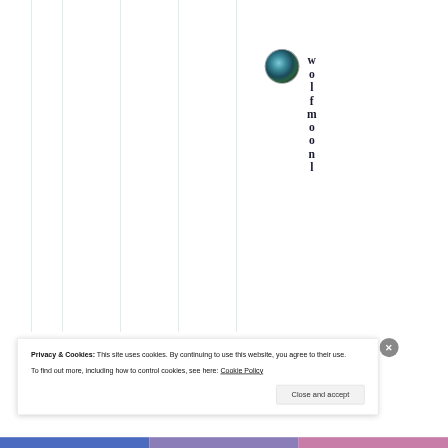[Figure (screenshot): Website interface showing vertical grid lines on white background, a circular wolf avatar image, and vertically stacked letters spelling 'wolfmoonl' displayed as a username sidebar element]
Privacy & Cookies: This site uses cookies. By continuing to use this website, you agree to their use.
To find out more, including how to control cookies, see here: Cookie Policy
Close and accept